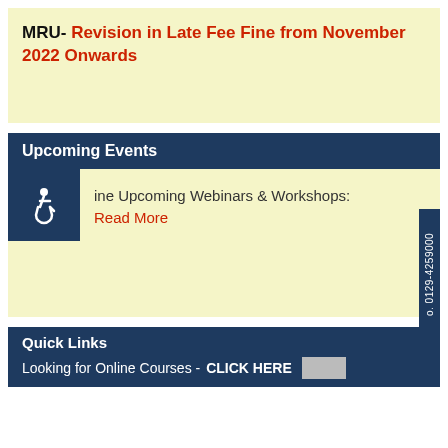MRU- Revision in Late Fee Fine from November 2022 Onwards
Upcoming Events
Online Upcoming Webinars & Workshops: Read More
Quick Links
Looking for Online Courses - CLICK HERE